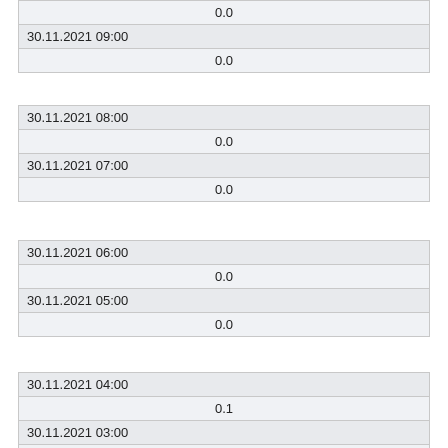|  | 0.0 |
| 30.11.2021 09:00 | 0.0 |
| 30.11.2021 08:00 | 0.0 |
| 30.11.2021 07:00 | 0.0 |
| 30.11.2021 06:00 | 0.0 |
| 30.11.2021 05:00 | 0.0 |
| 30.11.2021 04:00 | 0.1 |
| 30.11.2021 03:00 | 0.0 |